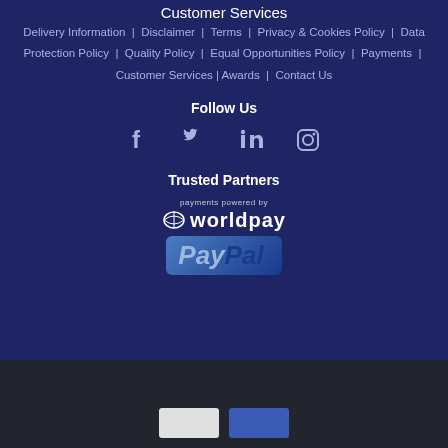Customer Services
Delivery Information | Disclaimer | Terms | Privacy & Cookies Policy | Data Protection Policy | Quality Policy | Equal Opportunities Policy | Payments | Customer Services | Awards | Contact Us
Follow Us
[Figure (infographic): Social media icons: Facebook, Twitter, LinkedIn, Instagram]
Trusted Partners
[Figure (logo): Worldpay logo: payments powered by worldpay, and PayPal logo]
[Figure (other): Two buttons at bottom: one light gray, one blue]